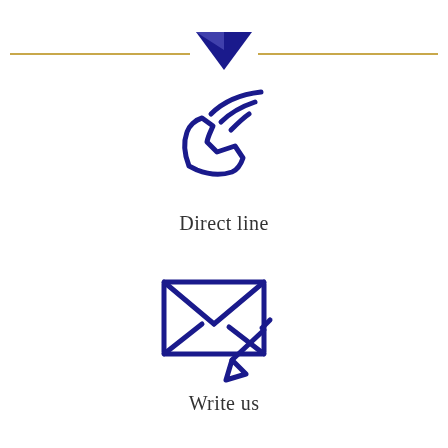[Figure (illustration): Decorative header with a dark blue downward-pointing triangle in the center and gold horizontal lines extending left and right]
[Figure (illustration): Dark blue telephone/phone icon with signal waves indicating a direct line]
Direct line
[Figure (illustration): Dark blue envelope/mail icon with a pencil overlay indicating writing or composing a message]
Write us